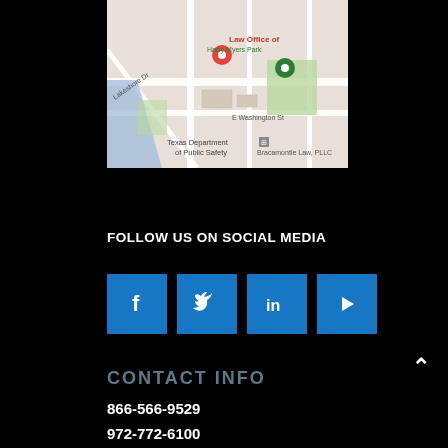[Figure (map): Google Maps screenshot showing Law Office location near Harry Myers Park, with Texas Department of Public Safety and Bracamontle Law PLLC visible. A red pin marks the law office and a green pin marks another location.]
FOLLOW US ON SOCIAL MEDIA
[Figure (infographic): Four blue social media icons: Facebook (f), Twitter (bird), LinkedIn (in), YouTube (play button)]
CONTACT INFO
866-566-9529
972-772-6100